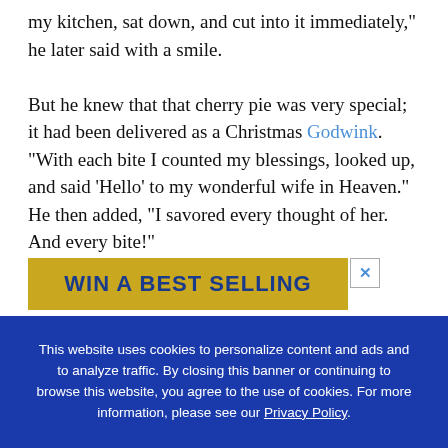my kitchen, sat down, and cut into it immediately," he later said with a smile.

But he knew that that cherry pie was very special; it had been delivered as a Christmas Godwink. "With each bite I counted my blessings, looked up, and said 'Hello' to my wonderful wife in Heaven." He then added, "I savored every thought of her. And every bite!"
[Figure (other): Advertisement banner with gold background and blue text reading 'WIN A BEST SELLING' with a close button (X) in the top right corner.]
This website uses cookies to personalize content and ads and to analyze traffic. By closing this banner or continuing to browse this website, you agree to the use of cookies. For more information, please see our Privacy Policy.